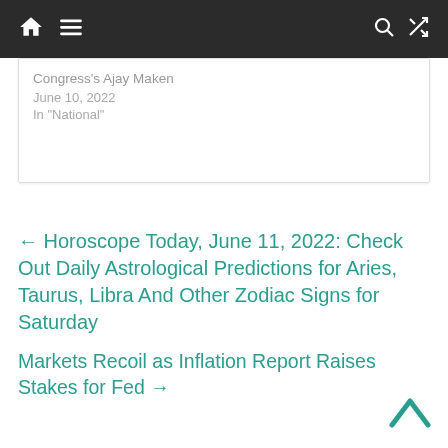[navigation bar with home, menu, search, shuffle icons]
Congress's Ajay Maken
June 10, 2022
In "National"
← Horoscope Today, June 11, 2022: Check Out Daily Astrological Predictions for Aries, Taurus, Libra And Other Zodiac Signs for Saturday
Markets Recoil as Inflation Report Raises Stakes for Fed →